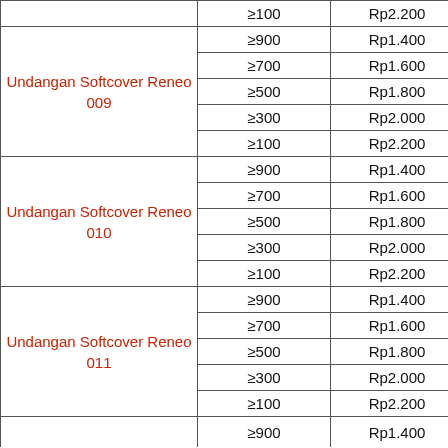| Product | Qty | Price |
| --- | --- | --- |
|  | ≥100 | Rp2.200 |
| Undangan Softcover Reneo 009 | ≥900 | Rp1.400 |
|  | ≥700 | Rp1.600 |
|  | ≥500 | Rp1.800 |
|  | ≥300 | Rp2.000 |
|  | ≥100 | Rp2.200 |
| Undangan Softcover Reneo 010 | ≥900 | Rp1.400 |
|  | ≥700 | Rp1.600 |
|  | ≥500 | Rp1.800 |
|  | ≥300 | Rp2.000 |
|  | ≥100 | Rp2.200 |
| Undangan Softcover Reneo 011 | ≥900 | Rp1.400 |
|  | ≥700 | Rp1.600 |
|  | ≥500 | Rp1.800 |
|  | ≥300 | Rp2.000 |
|  | ≥100 | Rp2.200 |
|  | ≥900 | Rp1.400 |